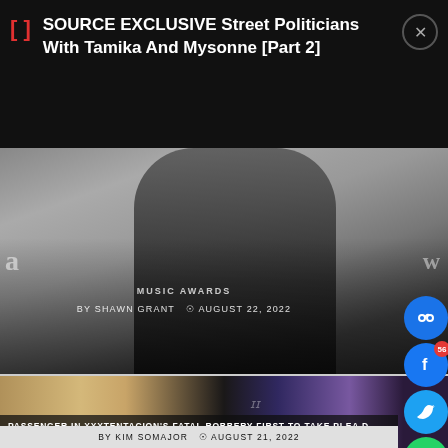SOURCE EXCLUSIVE Street Politicians With Tamika And Mysonne [Part 2]
[Figure (photo): Woman in black leather outfit at a music awards event]
MUSIC AWARDS
BY SHAWN GRANT   ⊙ AUGUST 22, 2022
[Figure (photo): Two men's faces side by side - XXXTentacion fatal robbery article]
PASSENGER IN XXXTENTACION'S FATAL ROBBERY FIRST TO TAKE PLEA D
BY KIM SOMAJOR   ⊙ AUGUST 21, 2022